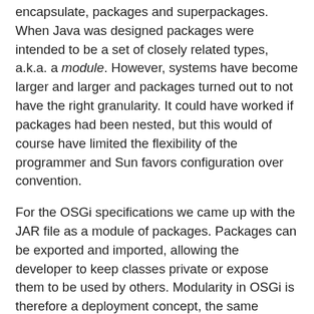encapsulate, packages and superpackages. When Java was designed packages were intended to be a set of closely related types, a.k.a. a module. However, systems have become larger and larger and packages turned out to not have the right granularity. It could have worked if packages had been nested, but this would of course have limited the flexibility of the programmer and Sun favors configuration over convention.
For the OSGi specifications we came up with the JAR file as a module of packages. Packages can be exported and imported, allowing the developer to keep classes private or expose them to be used by others. Modularity in OSGi is therefore a deployment concept, the same packages can be members of different modules/bundles. OSGi service platforms enforce these rules with the aid of class loaders.
However, purists want to have the modularity in the language itself, therefore superpackages were born in Sunville. Superpackages group a set of named (super-)packages and export types from these packages. First let me make clear that I have not seen anything in the public review draft that